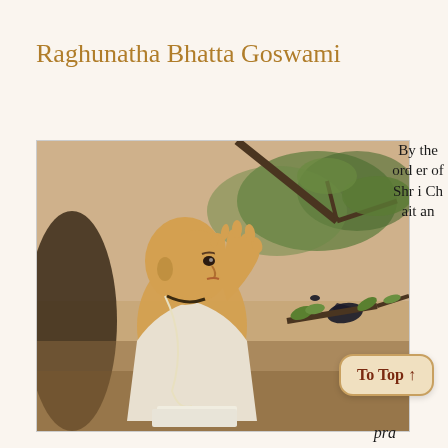Raghunatha Bhatta Goswami
[Figure (illustration): Painting of Raghunatha Bhatta Goswami, a bald saint in white robes with a sacred thread, raising one hand in a gesture, seated under trees with a dark bird perched on a branch beside him. Traditional Indian devotional artwork.]
By the order of Shri Chaitan
pra
To Top ↑